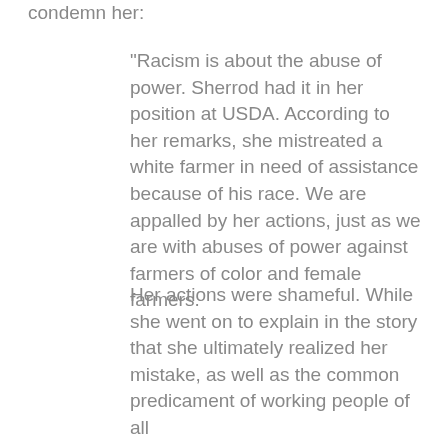condemn her:
"Racism is about the abuse of power. Sherrod had it in her position at USDA. According to her remarks, she mistreated a white farmer in need of assistance because of his race. We are appalled by her actions, just as we are with abuses of power against farmers of color and female farmers.
Her actions were shameful. While she went on to explain in the story that she ultimately realized her mistake, as well as the common predicament of working people of all